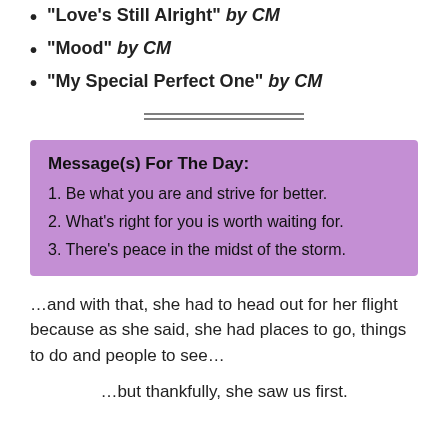“Love’s Still Alright” by CM
“Mood” by CM
“My Special Perfect One” by CM
Message(s) For The Day:
1. Be what you are and strive for better.
2. What’s right for you is worth waiting for.
3. There’s peace in the midst of the storm.
…and with that, she had to head out for her flight because as she said, she had places to go, things to do and people to see…
…but thankfully, she saw us first.